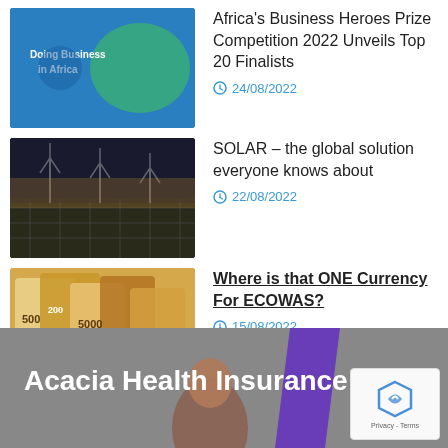[Figure (photo): Thumbnail image: Doing Business in Africa overlay on Africa map]
Africa's Business Heroes Prize Competition 2022 Unveils Top 20 Finalists
24/08/2022
[Figure (photo): Thumbnail image: Wind turbines and solar panels]
SOLAR – the global solution everyone knows about
22/08/2022
[Figure (photo): Thumbnail image: Various currency banknotes]
Where is that ONE Currency For ECOWAS?
15/08/2022
[Figure (photo): Thumbnail image: Illustration of skills, clock, books]
Today's Most Important Skills (Part 1)
10/08/2022
[Figure (photo): Footer banner: Acacia Health Insurance advertisement with person and purple stripe]
Privacy - Terms